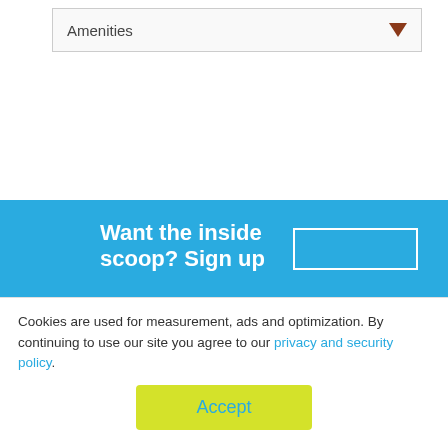[Figure (screenshot): A dropdown/select UI element labeled 'Amenities' with a dark red downward-pointing triangle arrow on the right side, inside a light bordered box.]
[Figure (screenshot): A teal/blue banner section with bold white text 'Want the inside scoop? Sign up' on the left and a white-bordered input box on the right.]
Cookies are used for measurement, ads and optimization. By continuing to use our site you agree to our privacy and security policy.
Accept